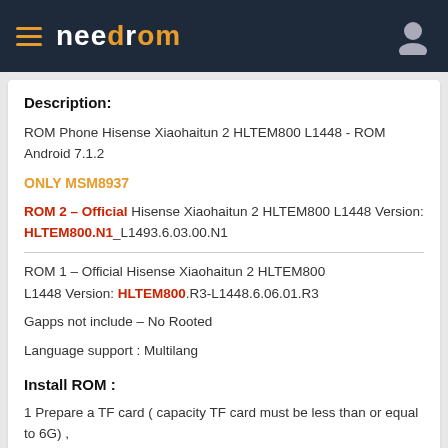needrom
Description:
ROM Phone Hisense Xiaohaitun 2 HLTEM800 L1448 - ROM Android 7.1.2
ONLY MSM8937
ROM 2 – Official Hisense Xiaohaitun 2 HLTEM800 L1448 Version: HLTEM800.N1_L1493.6.03.00.N1
ROM 1 – Official Hisense Xiaohaitun 2 HLTEM800
L1448 Version: HLTEM800.R3-L1448.6.06.01.R3
Gapps not include – No Rooted
Language support : Multilang
Install ROM :
1 Prepare a TF card ( capacity TF card must be less than or equal to 6G) , first card formatted in FAT format TF